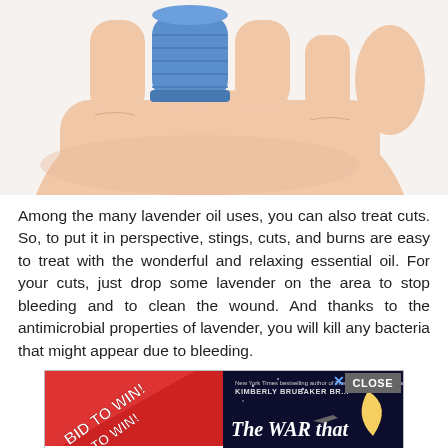[Figure (photo): Close-up photograph of a hand with a finger wrapped in blue medical bandage/cohesive wrap, against a white background]
Among the many lavender oil uses, you can also treat cuts. So, to put it in perspective, stings, cuts, and burns are easy to treat with the wonderful and relaxing essential oil. For your cuts, just drop some lavender on the area to stop bleeding and to clean the wound. And thanks to the antimicrobial properties of lavender, you will kill any bacteria that might appear due to bleeding.
[Figure (screenshot): Advertisement banner with two panels: left side shows a red diagonal ribbon with 'BID TO WIN!' text and 'ZOOM' text below; right side shows a book cover for 'The War that Saved my' by Kimberly Brubaker Bradley with a moon illustration. Has a CLOSE button.]